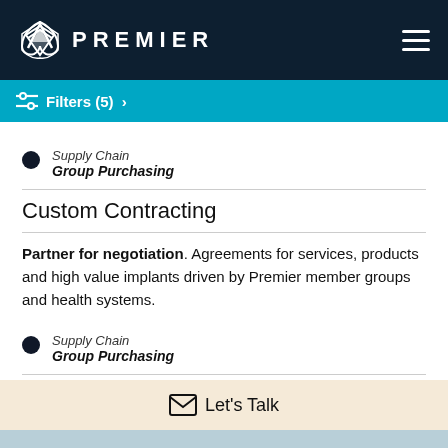PREMIER
Filters (5) >
Supply Chain / Group Purchasing
Custom Contracting
Partner for negotiation. Agreements for services, products and high value implants driven by Premier member groups and health systems.
Supply Chain / Group Purchasing
Distribution Contracts
Let's Talk